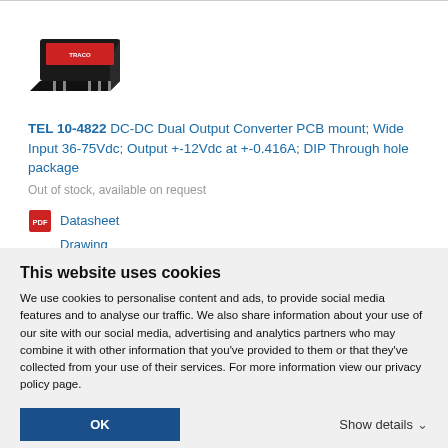[Figure (photo): Product photo of TEL 10-4822 DC-DC converter module, a small black rectangular PCB-mount component with red label]
TEL 10-4822 DC-DC Dual Output Converter PCB mount; Wide Input 36-75Vdc; Output +-12Vdc at +-0.416A; DIP Through hole package
Out of stock, available on request
Datasheet
Drawing
This website uses cookies
We use cookies to personalise content and ads, to provide social media features and to analyse our traffic. We also share information about your use of our site with our social media, advertising and analytics partners who may combine it with other information that you've provided to them or that they've collected from your use of their services. For more information view our privacy policy page.
OK
Show details